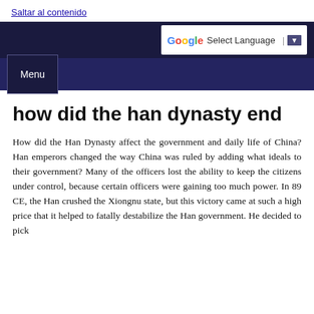Saltar al contenido
[Figure (screenshot): Website navigation bar with Google Translate widget showing 'Select Language' button and a dark navy Menu button]
how did the han dynasty end
How did the Han Dynasty affect the government and daily life of China? Han emperors changed the way China was ruled by adding what ideals to their government? Many of the officers lost the ability to keep the citizens under control, because certain officers were gaining too much power. In 89 CE, the Han crushed the Xiongnu state, but this victory came at such a high price that it helped to fatally destabilize the Han government. He decided to pick